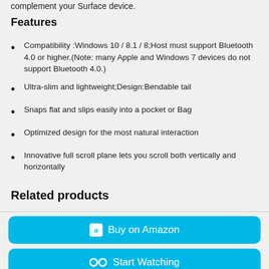complement your Surface device.
Features
Compatibility :Windows 10 / 8.1 / 8;Host must support Bluetooth 4.0 or higher.(Note: many Apple and Windows 7 devices do not support Bluetooth 4.0.)
Ultra-slim and lightweight;Design:Bendable tail
Snaps flat and slips easily into a pocket or Bag
Optimized design for the most natural interaction
Innovative full scroll plane lets you scroll both vertically and horizontally
Related products
[Figure (other): Buy on Amazon button - cyan rounded rectangle with Amazon icon and text]
[Figure (other): Start Watching button - cyan rounded rectangle with binoculars icon and text]